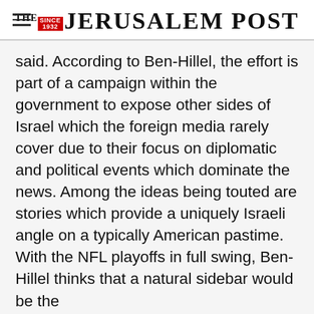THE JERUSALEM POST
said. According to Ben-Hillel, the effort is part of a campaign within the government to expose other sides of Israel which the foreign media rarely cover due to their focus on diplomatic and political events which dominate the news. Among the ideas being touted are stories which provide a uniquely Israeli angle on a typically American pastime. With the NFL playoffs in full swing, Ben-Hillel thinks that a natural sidebar would be the
Advertisement